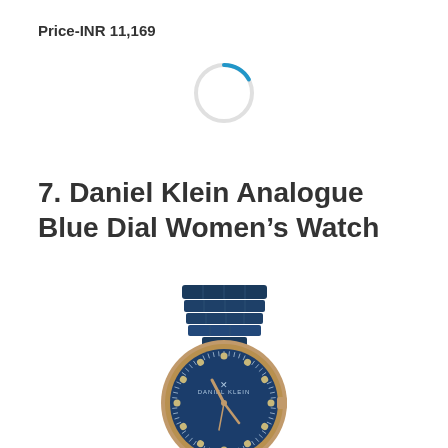Price-INR 11,169
[Figure (other): Circular loading spinner with a small blue arc segment on a light gray circle outline]
7. Daniel Klein Analogue Blue Dial Women's Watch
[Figure (photo): Daniel Klein Analogue Blue Dial Women's Watch with rose gold case, blue dial with crystal hour markers, rose gold hands, and a blue multi-link bracelet band]